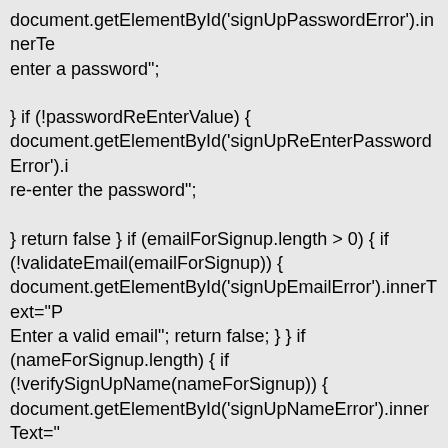document.getElementById('signUpPasswordError').innerText = "Please enter a password";

} if (!passwordReEnterValue) {
document.getElementById('signUpReEnterPasswordError').innerText = "Please re-enter the password";

} return false } if (emailForSignup.length > 0) { if (!validateEmail(emailForSignup)) { document.getElementById('signUpEmailError').innerText="Please Enter a valid email"; return false; } } if (nameForSignup.length) { if (!verifySignUpName(nameForSignup)) { document.getElementById('signUpNameError').innerText="Please Enter a valid name"; return false; } } if (passwordForSignUp.length) { if (passwordForSignUp.length < 6 || passwordForSignUp.length > 20) { document.getElementById('signUpPasswordError').innerText="Should be between 6 and 20 characters"; return false; } } if (passwordForSignUp !== passwordReEnterValue) {